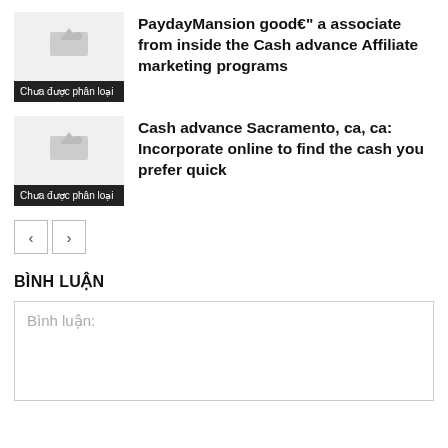[Figure (illustration): Thumbnail image placeholder with grey background and 'Chưa được phân loại' label in Vietnamese]
PaydayMansion good€" a associate from inside the Cash advance Affiliate marketing programs
[Figure (illustration): Thumbnail image placeholder with grey background and 'Chưa được phân loại' label in Vietnamese]
Cash advance Sacramento, ca, ca: Incorporate online to find the cash you prefer quick
BÌNH LUẬN
Bình luận: